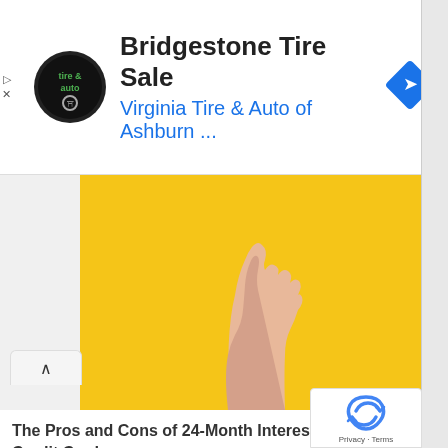[Figure (screenshot): Advertisement banner for Bridgestone Tire Sale by Virginia Tire & Auto of Ashburn with circular logo and blue diamond arrow icon]
Bridgestone Tire Sale
Virginia Tire & Auto of Ashburn ...
[Figure (photo): A hand raised against a bright yellow background, fingers curled]
The Pros and Cons of 24-Month Interest - Free Credit Cards
Tips & Tricks
[Figure (photo): Close-up of a cat's face with large dark eyes]